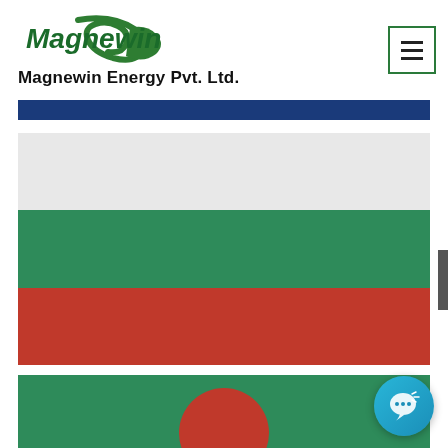Magnewin Energy Pvt. Ltd.
[Figure (illustration): Blue navigation bar separator]
[Figure (illustration): Flag of Bulgaria — three horizontal stripes: white/grey on top, green in middle, red on bottom]
[Figure (illustration): Flag of Bangladesh (partial) — green background with red circle, partially visible at bottom of page]
[Figure (illustration): Live chat button — circular blue chat bubble icon in bottom right corner]